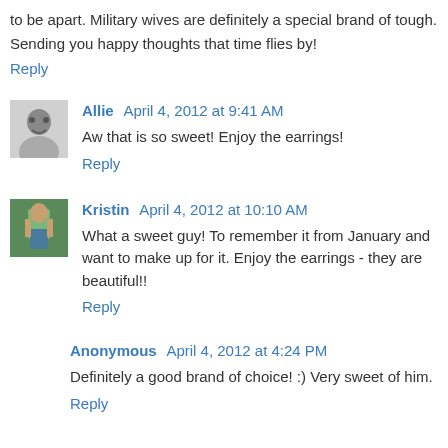to be apart. Military wives are definitely a special brand of tough. Sending you happy thoughts that time flies by!
Reply
Allie  April 4, 2012 at 9:41 AM
Aw that is so sweet! Enjoy the earrings!
Reply
Kristin  April 4, 2012 at 10:10 AM
What a sweet guy! To remember it from January and want to make up for it. Enjoy the earrings - they are beautiful!!
Reply
Anonymous  April 4, 2012 at 4:24 PM
Definitely a good brand of choice! :) Very sweet of him.
Reply